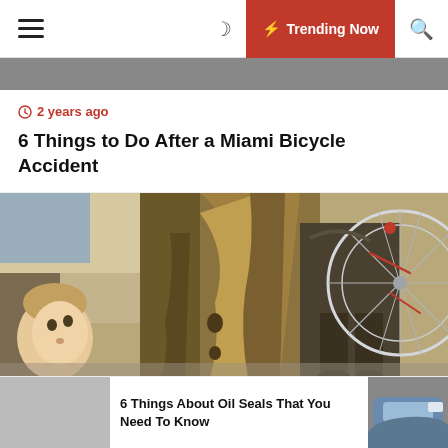Navigation bar with hamburger menu, moon icon, Trending Now button, search icon
2 years ago
6 Things to Do After a Miami Bicycle Accident
[Figure (illustration): Painting-style illustration from Bicycle Thieves (1948) showing a boy looking up, a man in a long coat, and a bicycle wheel with red accents]
2 years ago
Bicycle Thieves (1948) – IMDb
6 Things About Oil Seals That You Need To Know